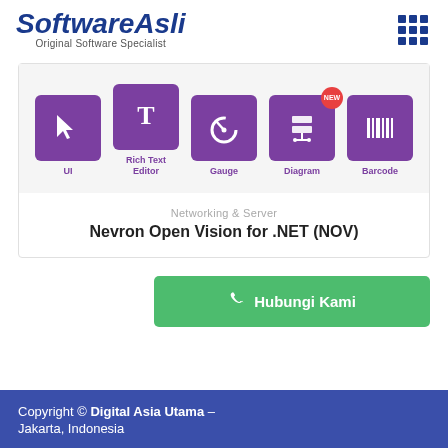[Figure (logo): SoftwareAsli logo with italic bold blue text and subtitle 'Original Software Specialist']
[Figure (screenshot): Product feature icons showing UI, Rich Text Editor, Gauge, Diagram (NEW badge), and Barcode on purple background tiles]
Networking & Server
Nevron Open Vision for .NET (NOV)
Hubungi Kami
Copyright © Digital Asia Utama – Jakarta, Indonesia